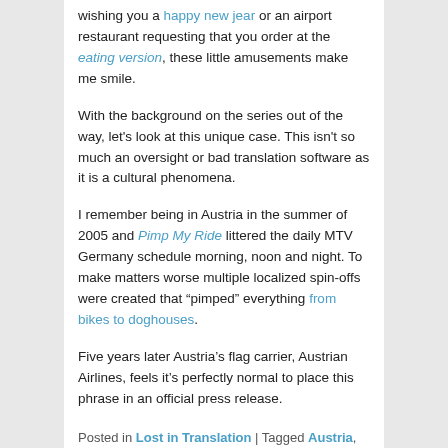wishing you a happy new jear or an airport restaurant requesting that you order at the eating version, these little amusements make me smile.
With the background on the series out of the way, let's look at this unique case. This isn't so much an oversight or bad translation software as it is a cultural phenomena.
I remember being in Austria in the summer of 2005 and Pimp My Ride littered the daily MTV Germany schedule morning, noon and night. To make matters worse multiple localized spin-offs were created that "pimped" everything from bikes to doghouses.
Five years later Austria's flag carrier, Austrian Airlines, feels it's perfectly normal to place this phrase in an official press release.
Posted in Lost in Translation | Tagged Austria, Austrian Airlines, bad English, Lost in Translation | Leave a reply